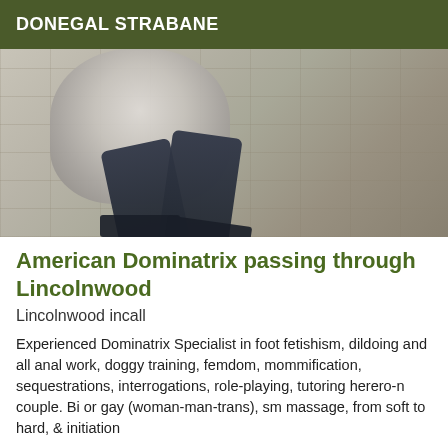DONEGAL STRABANE
[Figure (photo): A person wearing a fur coat and dark jeans, seated or posing against a stone wall background. The lower half of the body is visible, showing dark tight pants and boots.]
American Dominatrix passing through Lincolnwood
Lincolnwood incall
Experienced Dominatrix Specialist in foot fetishism, dildoing and all anal work, doggy training, femdom, mommification, sequestrations, interrogations, role-playing, tutoring herero-n couple. Bi or gay (woman-man-trans), sm massage, from soft to hard, & initiation for beginners, also erotic domination. Giving continuous...